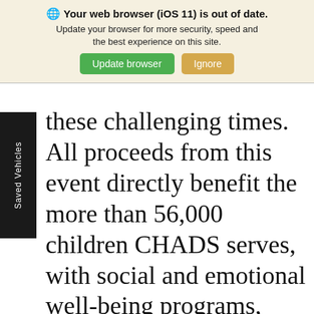[Figure (screenshot): Browser update notification banner with globe icon, bold title 'Your web browser (iOS 11) is out of date.', subtitle text, and two buttons: 'Update browser' (green) and 'Ignore' (tan/gold)]
[Figure (screenshot): Black vertical sidebar tab on the left side of the page with white rotated text reading 'Saved Vehicles']
these challenging times. All proceeds from this event directly benefit the more than 56,000 children CHADS serves, with social and emotional well-being programs, suicide prevention programs, and licensed professional counseling